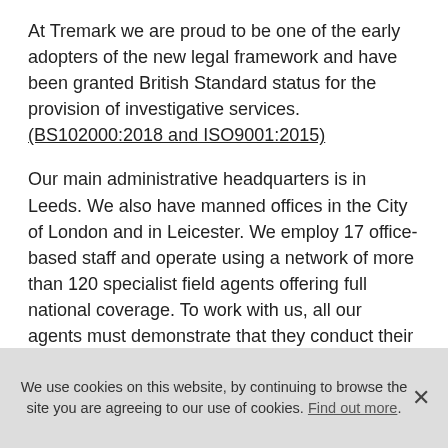At Tremark we are proud to be one of the early adopters of the new legal framework and have been granted British Standard status for the provision of investigative services. (BS102000:2018 and ISO9001:2015)
Our main administrative headquarters is in Leeds. We also have manned offices in the City of London and in Leicester. We employ 17 office-based staff and operate using a network of more than 120 specialist field agents offering full national coverage. To work with us, all our agents must demonstrate that they conduct their business in a professional manner and
We use cookies on this website, by continuing to browse the site you are agreeing to our use of cookies. Find out more.